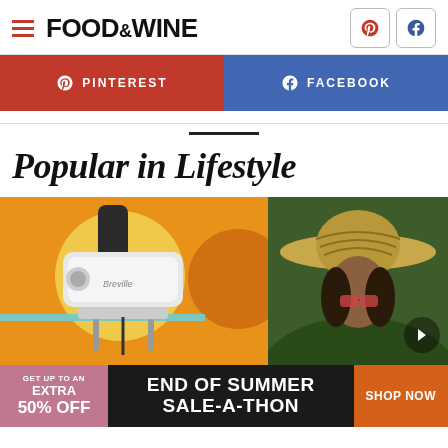FOOD&WINE navigation bar with Pinterest and Facebook icons
[Figure (screenshot): Pinterest red social share button]
[Figure (screenshot): Facebook blue social share button]
Popular in Lifestyle
[Figure (photo): Breville hand mixer on orange background with decorative circles]
[Figure (photo): Woman wearing straw hat outdoors with right-arrow navigation button]
[Figure (infographic): Advertisement banner: GET UP TO AN EXTRA 50% OFF - END OF SUMMER SALE-A-THON - SHOP NOW]